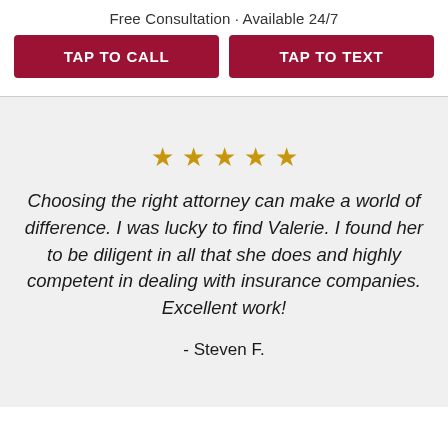Free Consultation · Available 24/7
TAP TO CALL
TAP TO TEXT
[Figure (other): Five gold star rating icons]
Choosing the right attorney can make a world of difference. I was lucky to find Valerie. I found her to be diligent in all that she does and highly competent in dealing with insurance companies. Excellent work!
- Steven F.